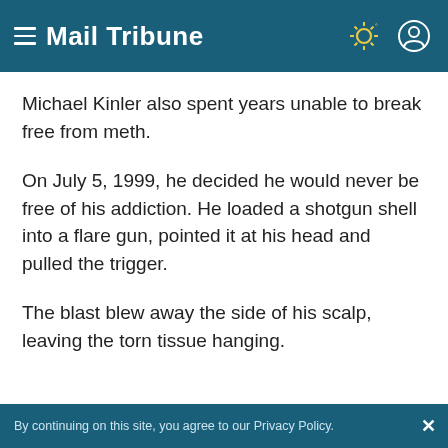Mail Tribune
Michael Kinler also spent years unable to break free from meth.
On July 5, 1999, he decided he would never be free of his addiction. He loaded a shotgun shell into a flare gun, pointed it at his head and pulled the trigger.
The blast blew away the side of his scalp, leaving the torn tissue hanging.
By continuing on this site, you agree to our Privacy Policy.